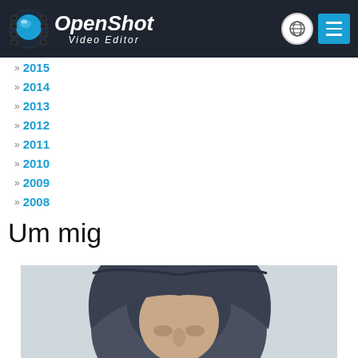OpenShot Video Editor
2015
2014
2013
2012
2011
2010
2009
2008
Um mig
[Figure (photo): Person wearing a dark hooded jacket with hood up, face partially obscured, light gray background]